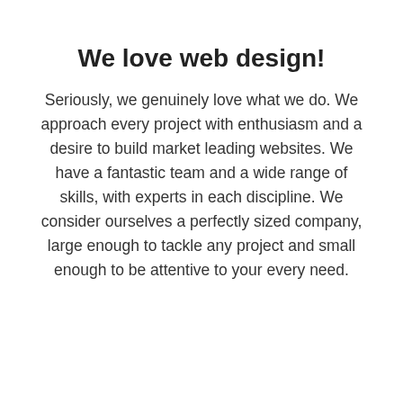We love web design!
Seriously, we genuinely love what we do. We approach every project with enthusiasm and a desire to build market leading websites. We have a fantastic team and a wide range of skills, with experts in each discipline. We consider ourselves a perfectly sized company, large enough to tackle any project and small enough to be attentive to your every need.